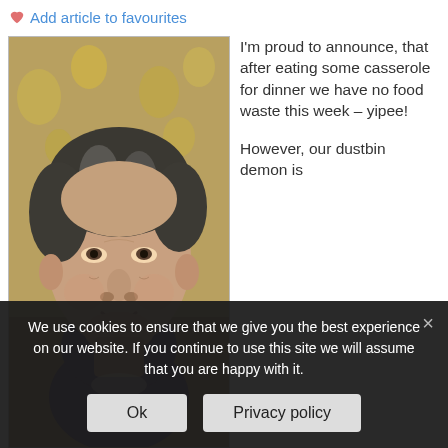Add article to favourites
[Figure (photo): Middle-aged man with grey-streaked dark hair, smiling slightly, wearing a dark purple/maroon sweater, photographed indoors with a floral curtain background.]
I'm proud to announce, that after eating some casserole for dinner we have no food waste this week – yipee!

However, our dustbin demon is
We use cookies to ensure that we give you the best experience on our website. If you continue to use this site we will assume that you are happy with it.